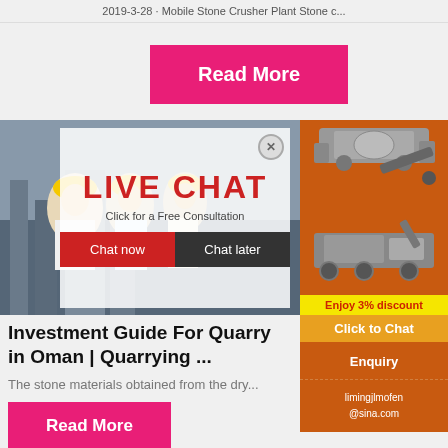2019-3-28 · Mobile Stone Crusher Plant Stone c...
Read More
[Figure (photo): Live chat overlay popup showing workers in hard hats with LIVE CHAT text, Chat now and Chat later buttons]
[Figure (photo): Right sidebar advertisement showing stone crusher machine images, Enjoy 3% discount yellow bar, Click to Chat orange button, Enquiry section, and email limingjlmofen@sina.com]
Investment Guide For Quarry in Oman | Quarrying ...
The stone materials obtained from the dry...
Read More